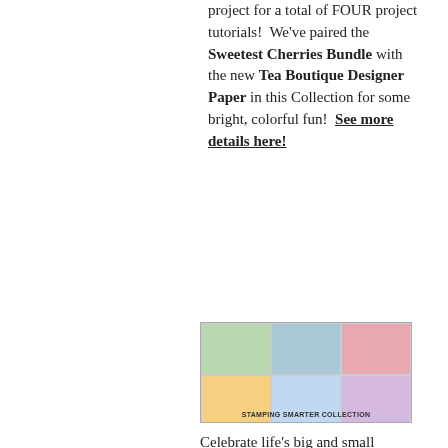project for a total of FOUR project tutorials!  We've paired the Sweetest Cherries Bundle with the new Tea Boutique Designer Paper in this Collection for some bright, colorful fun!  See more details here!
[Figure (photo): A colorful collection banner image showing multiple craft/stationery items and swatches in bright colors with text overlay reading 'STAMPING SMARTER COLLECTION']
Celebrate life's big and small